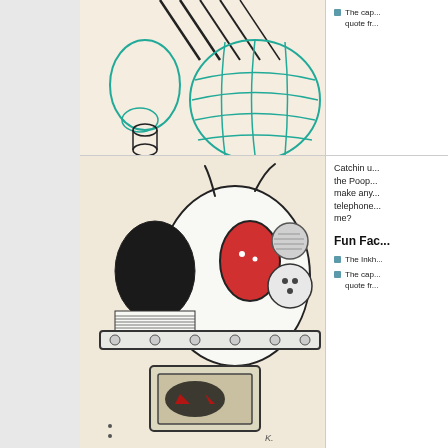[Figure (illustration): Pen and ink sketch with green marker overlay showing abstract shapes including circular basket-like forms and geometric lines on a beige background]
The cap... quote fr...
[Figure (illustration): Pen and ink sketch of a robot or alien creature with a black head, red oval element, metallic sphere, and various mechanical components in a vessel or vehicle on a beige background]
Catchin u... the Poop... make any... telephone... me?
Fun Fac...
The Inkh...
The cap... quote fr...